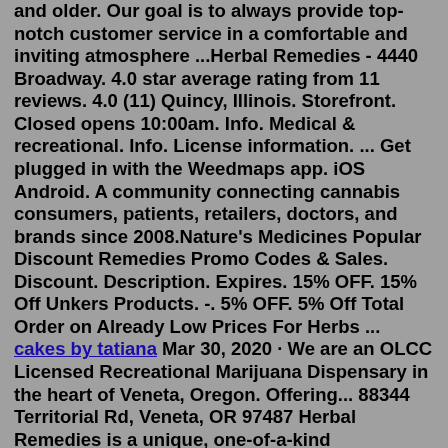and older. Our goal is to always provide top-notch customer service in a comfortable and inviting atmosphere ...Herbal Remedies - 4440 Broadway. 4.0 star average rating from 11 reviews. 4.0 (11) Quincy, Illinois. Storefront. Closed opens 10:00am. Info. Medical & recreational. Info. License information. ... Get plugged in with the Weedmaps app. iOS Android. A community connecting cannabis consumers, patients, retailers, doctors, and brands since 2008.Nature's Medicines Popular Discount Remedies Promo Codes & Sales. Discount. Description. Expires. 15% OFF. 15% Off Unkers Products. -. 5% OFF. 5% Off Total Order on Already Low Prices For Herbs ... cakes by tatiana Mar 30, 2020 · We are an OLCC Licensed Recreational Marijuana Dispensary in the heart of Veneta, Oregon. Offering... 88344 Territorial Rd, Veneta, OR 97487 Herbal Remedies is a unique, one-of-a-kind recreational and medical dispensary located in beautiful Salem, Oregon. Our newest location in South Salem features a modern updated vibe, like a Portland dispensary, but with a Northwest